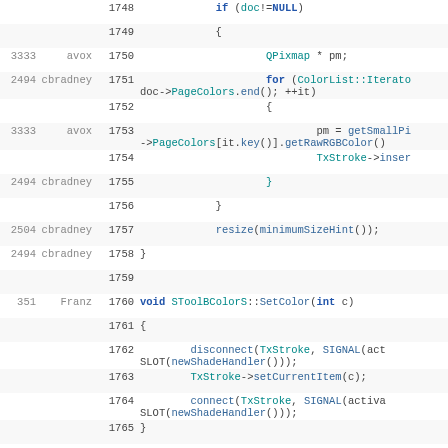Code viewer showing lines 1748-1765 with revision numbers and author annotations. Source code in C++ showing color list iteration and SToolBColorS::SetColor function.